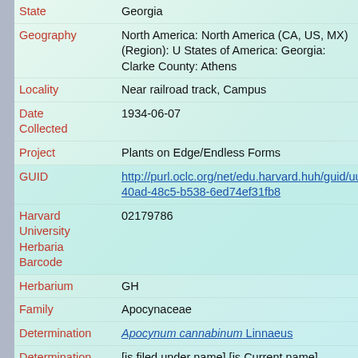| Field | Value |
| --- | --- |
| State | Georgia |
| Geography | North America: North America (CA, US, MX) (Region): United States of America: Georgia: Clarke County: Athens |
| Locality | Near railroad track, Campus |
| Date Collected | 1934-06-07 |
| Project | Plants on Edge/Endless Forms |
| GUID | http://purl.oclc.org/net/edu.harvard.huh/guid/uuid/350... 40ad-48c5-b538-6ed74ef31fb8 |
| Harvard University Herbaria Barcode | 02179786 |
| Herbarium | GH |
| Family | Apocynaceae |
| Determination | Apocynum cannabinum Linnaeus |
| Determination Remarks | [is filed under name] [is Current name] |
| Sex | not determined |
| Phenology | NotDetermined |
| Preparation Type | Sheet |